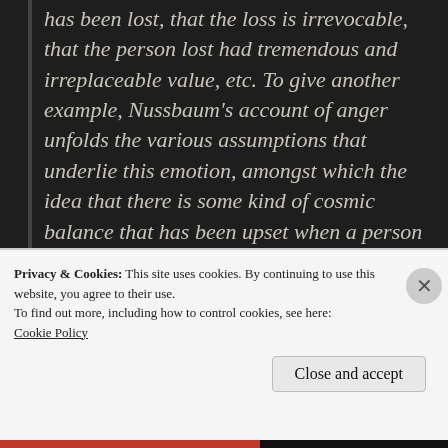has been lost, that the loss is irrevocable, that the person lost had tremendous and irreplaceable value, etc. To give another example, Nussbaum's account of anger unfolds the various assumptions that underlie this emotion, amongst which the idea that there is some kind of cosmic balance that has been upset when a person has been wronged, and that directing his or her fury at the
Privacy & Cookies: This site uses cookies. By continuing to use this website, you agree to their use.
To find out more, including how to control cookies, see here:
Cookie Policy
Close and accept